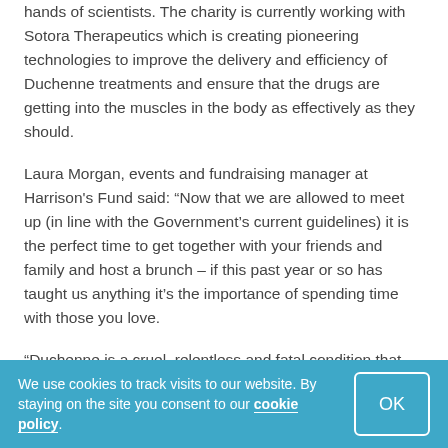hands of scientists. The charity is currently working with Sotora Therapeutics which is creating pioneering technologies to improve the delivery and efficiency of Duchenne treatments and ensure that the drugs are getting into the muscles in the body as effectively as they should.
Laura Morgan, events and fundraising manager at Harrison's Fund said: “Now that we are allowed to meet up (in line with the Government’s current guidelines) it is the perfect time to get together with your friends and family and host a brunch – if this past year or so has taught us anything it’s the importance of spending time with those you love.
“Duchenne is a cruel, relentless and fatal condition that affects 2,500 children in the UK and thousands more across the world. So as you get flipping those pancakes and crunching that granola, know that you’ll be giving hope to parents who are
We use cookies to track visits to our website. By staying on the site you consent to our cookie policy.